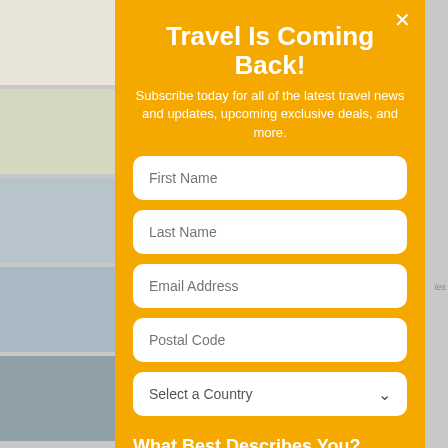[Figure (screenshot): Background of a travel website with blurred images on the left side and a gray background on the right. An orange/yellow modal popup overlays the center of the page.]
Travel Is Coming Back!
Subscribe today for all of the latest travel news and updates, upcoming exclusive deals, and more.
First Name
Last Name
Email Address
Postal Code
Select a Country
What Best Describes You?
Travel Agent
Travel Supplier
Traveler